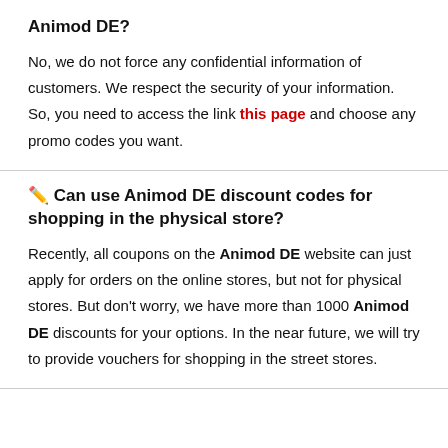Animod DE?
No, we do not force any confidential information of customers. We respect the security of your information. So, you need to access the link this page and choose any promo codes you want.
✏️ Can use Animod DE discount codes for shopping in the physical store?
Recently, all coupons on the Animod DE website can just apply for orders on the online stores, but not for physical stores. But don't worry, we have more than 1000 Animod DE discounts for your options. In the near future, we will try to provide vouchers for shopping in the street stores.